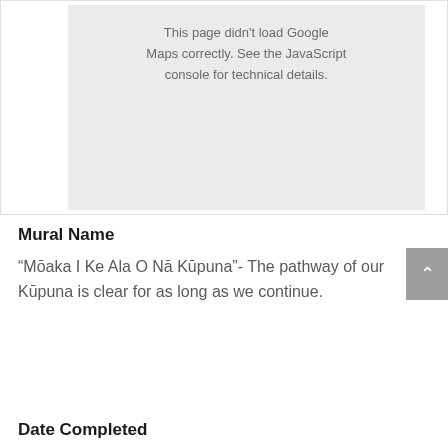[Figure (screenshot): Google Maps placeholder showing error message: 'This page didn't load Google Maps correctly. See the JavaScript console for technical details.' on a light gray background.]
Mural Name
“Mōaka I Ke Ala O Nā Kūpuna”- The pathway of our Kūpuna is clear for as long as we continue.
Date Completed